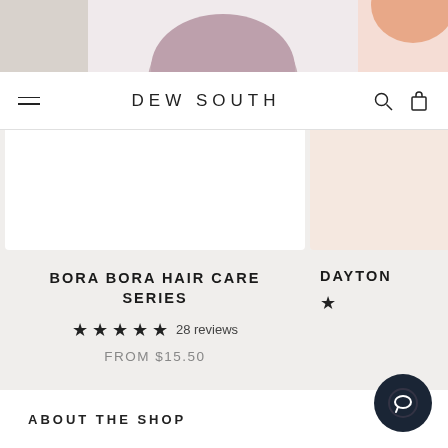[Figure (photo): Product images strip at top of page showing hair care products - a mauve/purple textured round bar on left-center and an orange/peach round product on right]
DEW SOUTH
[Figure (photo): Product card image area for Bora Bora Hair Care Series - white background card]
BORA BORA HAIR CARE SERIES
★★★★★ 28 reviews
FROM $15.50
DAYTON
ABOUT THE SHOP
Dew South was born out of the need to do something about the degrading quality of life and environment. As a biochemist, I knew the implications of water pollution and soil pollution. Consumerism needs to be redirected from